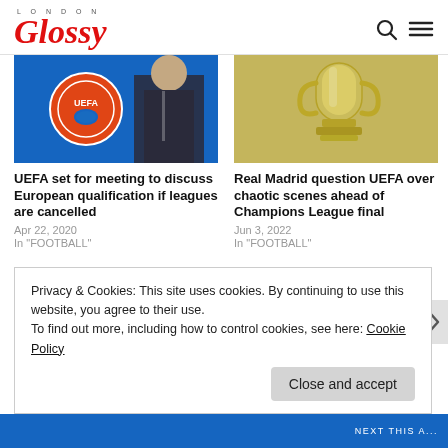LONDON Glossy
[Figure (photo): UEFA logo with man in suit in front of blue background]
[Figure (photo): Champions League trophy close-up]
UEFA set for meeting to discuss European qualification if leagues are cancelled
Apr 22, 2020
In "FOOTBALL"
Real Madrid question UEFA over chaotic scenes ahead of Champions League final
Jun 3, 2022
In "FOOTBALL"
Privacy & Cookies: This site uses cookies. By continuing to use this website, you agree to their use.
To find out more, including how to control cookies, see here: Cookie Policy
Close and accept